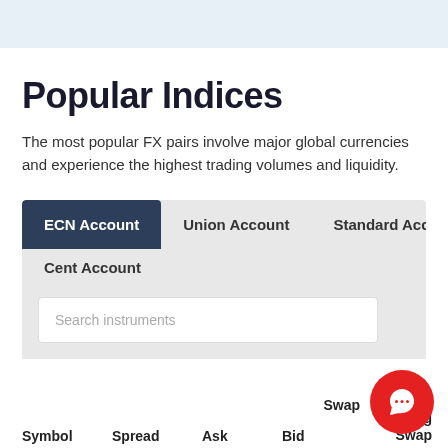Popular Indices
The most popular FX pairs involve major global currencies and experience the highest trading volumes and liquidity.
| ECN Account | Union Account | Standard Account | Cent Account |
| --- | --- | --- | --- |
| Symbol | Spread | Ask | Bid | Long Swap | Swap |
| --- | --- | --- | --- | --- | --- |